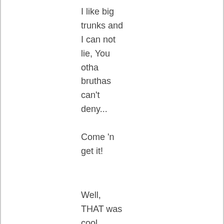I like big trunks and I can not lie, You otha bruthas can't deny...
Come 'n get it!
Well, THAT was cool
Merry.
Toucan eyes are